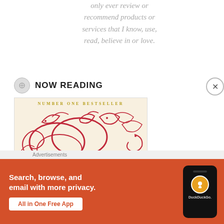only ever review or recommend products or services that I know, use, read, believe in or love.
NOW READING
[Figure (illustration): Book cover showing 'NUMBER ONE BESTSELLER' at top in gold lettering, ornate red floral/vine decorative illustration in center, and author name 'Alain' in gold italic text at bottom.]
Advertisements
[Figure (other): DuckDuckGo advertisement banner with orange background. Text reads 'Search, browse, and email with more privacy. All in One Free App' with a phone mockup showing DuckDuckGo logo and 'DuckDuckGo.' branding.]